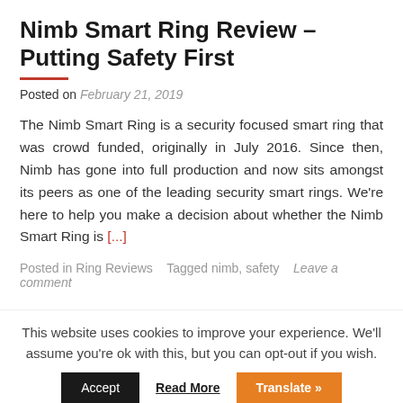Nimb Smart Ring Review – Putting Safety First
Posted on February 21, 2019
The Nimb Smart Ring is a security focused smart ring that was crowd funded, originally in July 2016. Since then, Nimb has gone into full production and now sits amongst its peers as one of the leading security smart rings. We're here to help you make a decision about whether the Nimb Smart Ring is [...]
Posted in Ring Reviews   Tagged nimb, safety   Leave a comment
This website uses cookies to improve your experience. We'll assume you're ok with this, but you can opt-out if you wish.